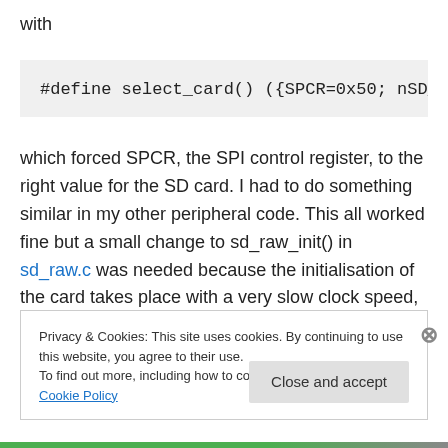with
#define select_card() ({SPCR=0x50; nSD_CS
which forced SPCR, the SPI control register, to the right value for the SD card. I had to do something similar in my other peripheral code. This all worked fine but a small change to sd_raw_init() in sd_raw.c was needed because the initialisation of the card takes place with a very slow clock speed, so that accesses SPCR as well.
Privacy & Cookies: This site uses cookies. By continuing to use this website, you agree to their use.
To find out more, including how to control cookies, see here: Cookie Policy